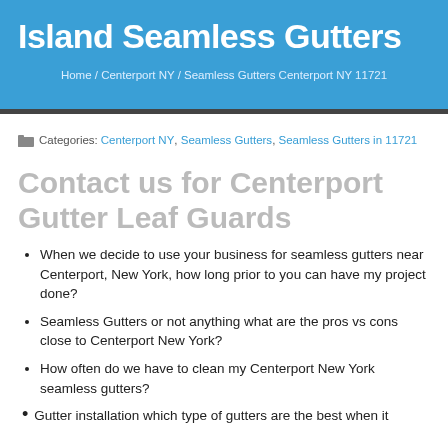Island Seamless Gutters
Home / Centerport NY / Seamless Gutters Centerport NY 11721
Categories: Centerport NY, Seamless Gutters, Seamless Gutters in 11721
Contact us for Centerport Gutter Leaf Guards
When we decide to use your business for seamless gutters near Centerport, New York, how long prior to you can have my project done?
Seamless Gutters or not anything what are the pros vs cons close to Centerport New York?
How often do we have to clean my Centerport New York seamless gutters?
Gutter installation which type of gutters are the best when it